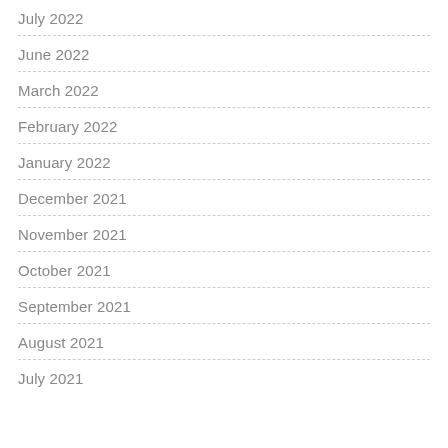July 2022
June 2022
March 2022
February 2022
January 2022
December 2021
November 2021
October 2021
September 2021
August 2021
July 2021